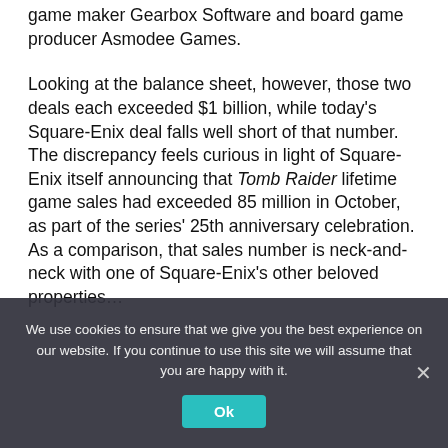game maker Gearbox Software and board game producer Asmodee Games.
Looking at the balance sheet, however, those two deals each exceeded $1 billion, while today's Square-Enix deal falls well short of that number. The discrepancy feels curious in light of Square-Enix itself announcing that Tomb Raider lifetime game sales had exceeded 85 million in October, as part of the series' 25th anniversary celebration. As a comparison, that sales number is neck-and-neck with one of Square-Enix's other beloved properties…
We use cookies to ensure that we give you the best experience on our website. If you continue to use this site we will assume that you are happy with it.